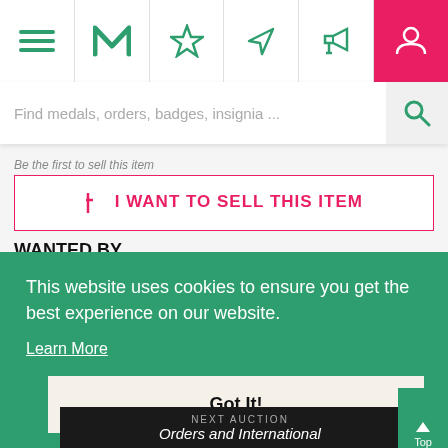[Figure (screenshot): Mobile website navigation bar with hamburger menu, M logo, star/favorite icon, location/navigation icon, megaphone/notification icon, and user/profile icon (highlighted in pink/red)]
[Figure (screenshot): Search bar with placeholder text 'Find medals, orders, badges, insignia ...' and magnifying glass icon on right]
Be the first to sell this item
$ I WANT TO SELL THIS ITEM
WANTED BY
Be the first to request this item
I WANT THIS ITEM
This website uses cookies to ensure you get the best experience on our website.
Learn More
Got It!
[Figure (logo): Hermann Historica watermark logo text in faded white on green background]
NEXT AUCTION
Orders and International